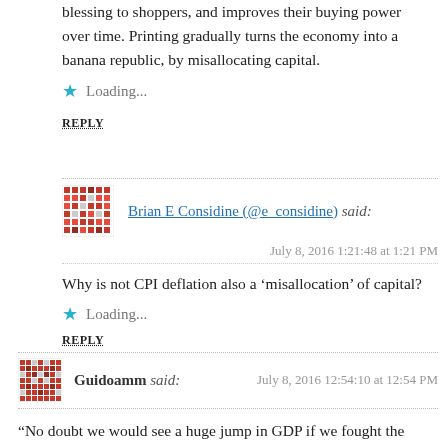blessing to shoppers, and improves their buying power over time. Printing gradually turns the economy into a banana republic, by misallocating capital.
Loading...
REPLY
Brian E Considine (@e_considine) said:
July 8, 2016 1:21:48 at 1:21 PM
Why is not CPI deflation also a ‘misallocation’ of capital?
Loading...
REPLY
Guidoamm said:
July 8, 2016 12:54:10 at 12:54 PM
“No doubt we would see a huge jump in GDP if we fought the space aliens (real or imaginary). Then what?”